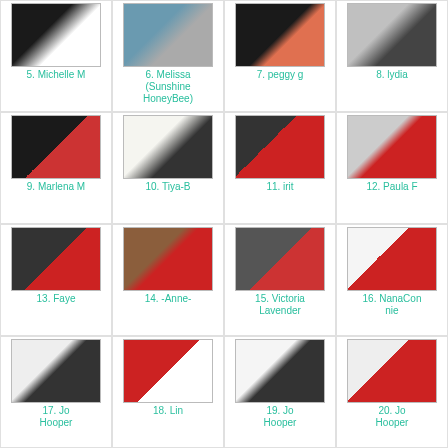[Figure (photo): Grid of craft card thumbnail images with numbered labels. Row 1: 5. Michelle M, 6. Melissa (Sunshine HoneyBee), 7. peggy g, 8. lydia. Row 2: 9. Marlena M, 10. Tiya-B, 11. irit, 12. Paula F. Row 3: 13. Faye, 14. -Anne-, 15. Victoria Lavender, 16. NanaConnie. Row 4: 17. Jo Hooper, 18. Lin, 19. Jo Hooper, 20. Jo Hooper. Row 5 (partial): additional thumbnails.]